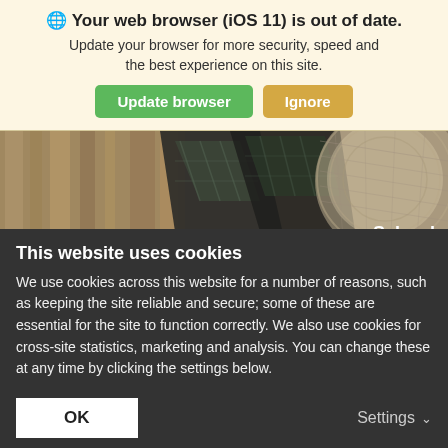🌐 Your web browser (iOS 11) is out of date.
Update your browser for more security, speed and the best experience on this site.
[Figure (screenshot): Two buttons: 'Update browser' (green) and 'Ignore' (tan/gold)]
[Figure (photo): Architectural photograph of modern glass building structures with Schroders capital logo and 'BUILDING CHANGE' text overlay]
This website uses cookies
We use cookies across this website for a number of reasons, such as keeping the site reliable and secure; some of these are essential for the site to function correctly. We also use cookies for cross-site statistics, marketing and analysis. You can change these at any time by clicking the settings below.
OK
Settings